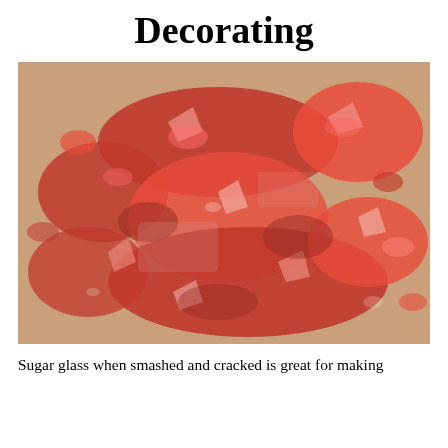Decorating
[Figure (photo): Close-up photo of smashed red sugar glass pieces scattered on a brown surface, showing jagged crystalline red candy shards.]
Sugar glass when smashed and cracked is great for making